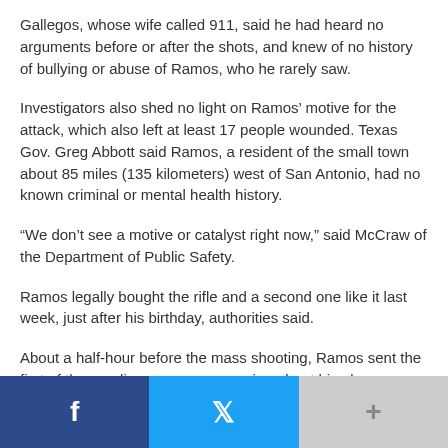Gallegos, whose wife called 911, said he had heard no arguments before or after the shots, and knew of no history of bullying or abuse of Ramos, who he rarely saw.
Investigators also shed no light on Ramos’ motive for the attack, which also left at least 17 people wounded. Texas Gov. Greg Abbott said Ramos, a resident of the small town about 85 miles (135 kilometers) west of San Antonio, had no known criminal or mental health history.
“We don’t see a motive or catalyst right now,” said McCraw of the Department of Public Safety.
Ramos legally bought the rifle and a second one like it last week, just after his birthday, authorities said.
About a half-hour before the mass shooting, Ramos sent the first of three online messages warning about his plans, Abbott said.